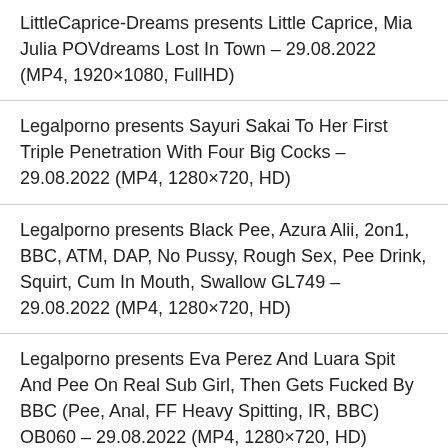LittleCaprice-Dreams presents Little Caprice, Mia Julia POVdreams Lost In Town – 29.08.2022 (MP4, 1920×1080, FullHD)
Legalporno presents Sayuri Sakai To Her First Triple Penetration With Four Big Cocks – 29.08.2022 (MP4, 1280×720, HD)
Legalporno presents Black Pee, Azura Alii, 2on1, BBC, ATM, DAP, No Pussy, Rough Sex, Pee Drink, Squirt, Cum In Mouth, Swallow GL749 – 29.08.2022 (MP4, 1280×720, HD)
Legalporno presents Eva Perez And Luara Spit And Pee On Real Sub Girl, Then Gets Fucked By BBC (Pee, Anal, FF Heavy Spitting, IR, BBC) OB060 – 29.08.2022 (MP4, 1280×720, HD)
XXXIMENAX aka XIMENA 173 Clips, Photos Pack